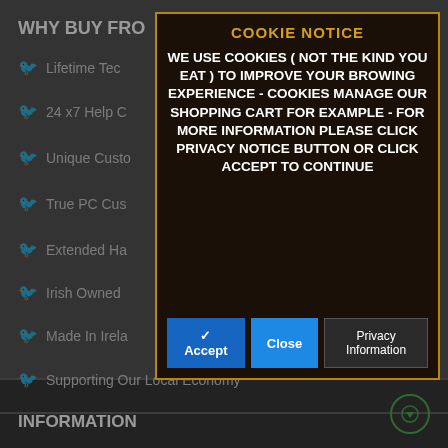WHY BUY FRO
Lifetime Tec
24 x7 Help C
Unique Custo
True PC Cus
Extended Ha
Irish Owned
Made In Irela
Supporting Our Local Economy
[Figure (screenshot): Cookie notice modal dialog with dark brown/black background and gold border. Title 'COOKIE NOTICE' in yellow. Body text in white bold uppercase: 'WE USE COOKIES ( NOT THE KIND YOU EAT ) TO IMPROVE YOUR BROWING EXPERIENCE - COOKIES MANAGE OUR SHOPPING CART FOR EXAMPLE - FOR MORE INFORMATION PLEASE CLICK PRIVACY NOTICE BUTTON OR CLICK ACCEPT TO CONTINUE'. Three buttons: Accept (blue), Close (blue), Privacy Information (dark).]
INFORMATION